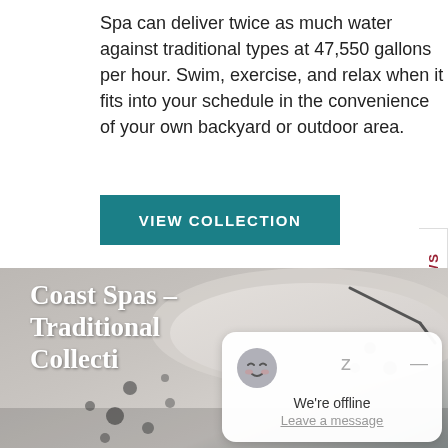Spa can deliver twice as much water against traditional types at 47,550 gallons per hour. Swim, exercise, and relax when it fits into your schedule in the convenience of your own backyard or outdoor area.
VIEW COLLECTION
REVIEWS
[Figure (photo): Grayscale photo of a Coast Spas hot tub/spa with jets visible, overlaid with the text 'Coast Spas – Traditional Collecti...' in large bold white serif font. A chat popup widget is partially overlapping the lower right of the image showing a sleeping face emoji, 'z' character, a dash button, 'We're offline' text and 'Leave a message' link.]